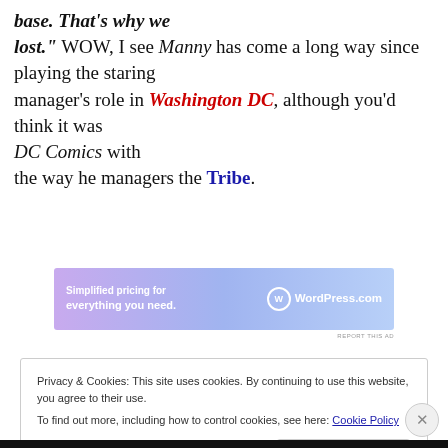base. That's why we lost." WOW, I see Manny has come a long way since playing the staring manager's role in Washington DC, although you'd think it was DC Comics with the way he managers the Tribe.
[Figure (other): WordPress.com advertisement banner: 'Simplified pricing for everything you need.' with WordPress.com logo]
Privacy & Cookies: This site uses cookies. By continuing to use this website, you agree to their use. To find out more, including how to control cookies, see here: Cookie Policy